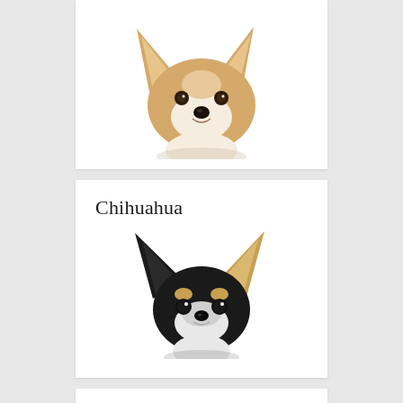[Figure (photo): Close-up portrait of a Corgi dog with large ears, tan and white fur, looking at the camera against a white background]
Chihuahua
[Figure (photo): Close-up portrait of a black and tan Chihuahua dog with large ears, looking at the camera against a white background]
Bulldog